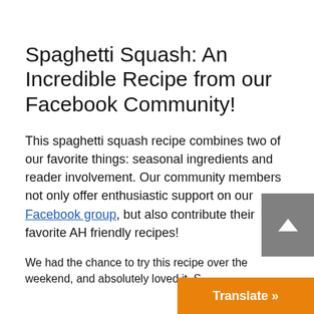Spaghetti Squash: An Incredible Recipe from our Facebook Community!
This spaghetti squash recipe combines two of our favorite things: seasonal ingredients and reader involvement. Our community members not only offer enthusiastic support on our Facebook group, but also contribute their favorite AH friendly recipes!
We had the chance to try this recipe over the weekend, and absolutely loved it. S…